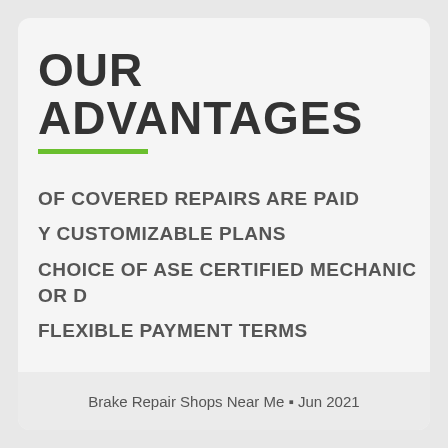OUR ADVANTAGES
OF COVERED REPAIRS ARE PAID
Y CUSTOMIZABLE PLANS
CHOICE OF ASE CERTIFIED MECHANIC OR D
FLEXIBLE PAYMENT TERMS
Brake Repair Shops Near Me • Jun 2021